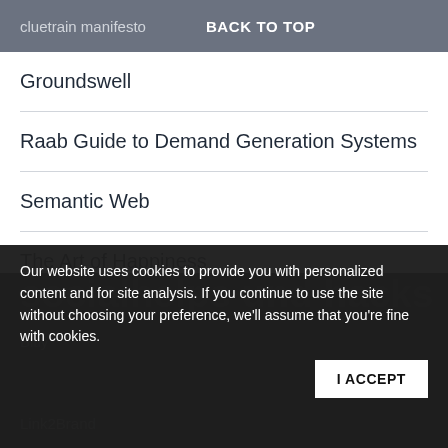cluetrain manifesto  BACK TO TOP
Groundswell
Raab Guide to Demand Generation Systems
Semantic Web
The Art of Happiness
The Facebook Era
Our website uses cookies to provide you with personalized content and for site analysis. If you continue to use the site without choosing your preference, we'll assume that you're fine with cookies.
I ACCEPT